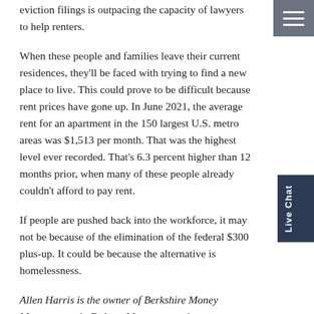eviction filings is outpacing the capacity of lawyers to help renters.
When these people and families leave their current residences, they'll be faced with trying to find a new place to live. This could prove to be difficult because rent prices have gone up. In June 2021, the average rent for an apartment in the 150 largest U.S. metro areas was $1,513 per month. That was the highest level ever recorded. That's 6.3 percent higher than 12 months prior, when many of these people already couldn't afford to pay rent.
If people are pushed back into the workforce, it may not be because of the elimination of the federal $300 plus-up. It could be because the alternative is homelessness.
Allen Harris is the owner of Berkshire Money Management in Dalton, Mass., managing investments of more than $700 million. Unless specifically identified as original research or data-gathering, some or all of the data cited is attributable to